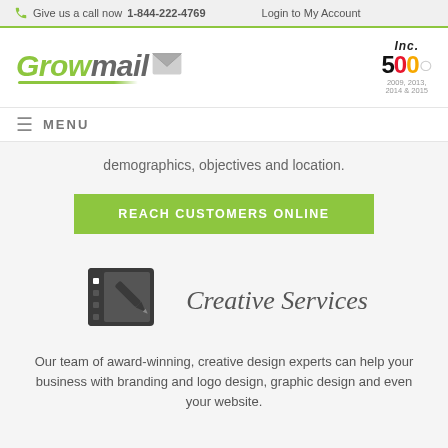Give us a call now 1-844-222-4769    Login to My Account
[Figure (logo): Growmail company logo with green 'Grow' and grey 'mail' italic text, green underline swoosh, and envelope icon]
[Figure (logo): Inc. 500 badge with black Inc., red/yellow/grey 500 text, years 2009, 2013, 2014 & 2015]
≡  MENU
demographics, objectives and location.
REACH CUSTOMERS ONLINE
[Figure (illustration): Dark grey drawing tablet with pencil/stylus icon]
Creative Services
Our team of award-winning, creative design experts can help your business with branding and logo design, graphic design and even your website.